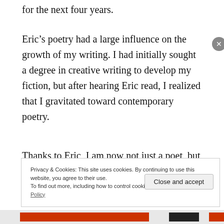for the next four years.
Eric’s poetry had a large influence on the growth of my writing. I had initially sought a degree in creative writing to develop my fiction, but after hearing Eric read, I realized that I gravitated toward contemporary poetry.
Thanks to Eric, I am now not just a poet, but a
Privacy & Cookies: This site uses cookies. By continuing to use this website, you agree to their use.
To find out more, including how to control cookies, see here: Cookie Policy
Close and accept